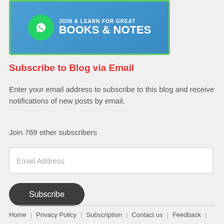[Figure (infographic): WhatsApp promotional banner for Books & Notes with green WhatsApp icon on blue background with green border]
Subscribe to Blog via Email
Enter your email address to subscribe to this blog and receive notifications of new posts by email.
Join 769 other subscribers
Email Address
Subscribe
Home | Privacy Policy | Subscription | Contact us | Feedback | Disclaimer | Terms & Conditions | Cookies Policy | ABOUT US